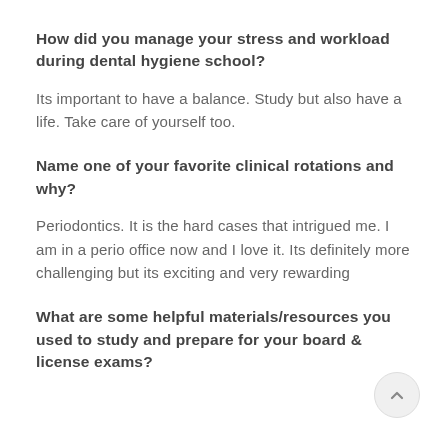How did you manage your stress and workload during dental hygiene school?
Its important to have a balance. Study but also have a life. Take care of yourself too.
Name one of your favorite clinical rotations and why?
Periodontics. It is the hard cases that intrigued me. I am in a perio office now and I love it. Its definitely more challenging but its exciting and very rewarding
What are some helpful materials/resources you used to study and prepare for your board & license exams?